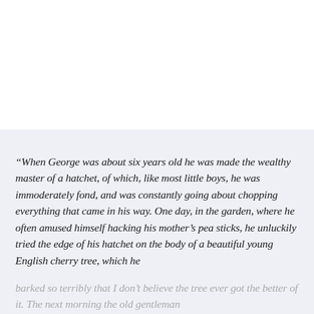“When George was about six years old he was made the wealthy master of a hatchet, of which, like most little boys, he was immoderately fond, and was constantly going about chopping everything that came in his way. One day, in the garden, where he often amused himself hacking his mother’s pea sticks, he unluckily tried the edge of his hatchet on the body of a beautiful young English cherry tree, which he barked so terribly that I don’t believe the tree ever got the better of it. The next morning the old gentleman